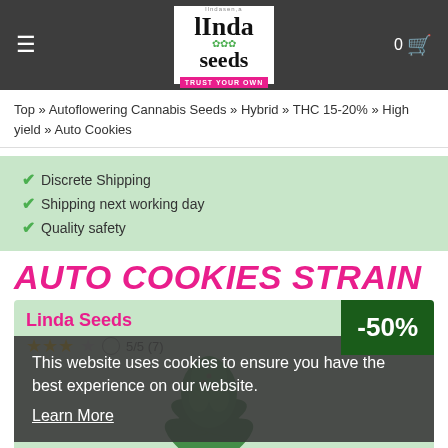Linda Seeds – TRUST YOUR OWN
Top » Autoflowering Cannabis Seeds » Hybrid » THC 15-20% » High yield » Auto Cookies
✔ Discrete Shipping
✔ Shipping next working day
✔ Quality safety
AUTO COOKIES STRAIN
Linda Seeds
5/5 (7)
This website uses cookies to ensure you have the best experience on our website. Learn More
-50%
Allow cookies